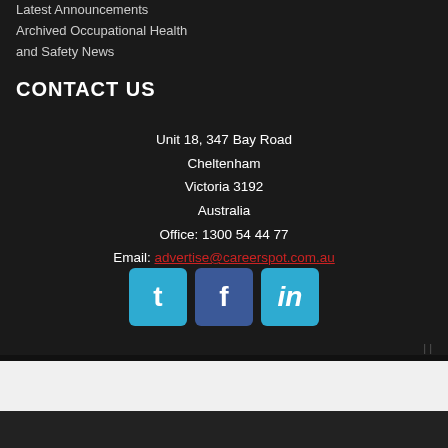Latest Announcements
Archived Occupational Health and Safety News
CONTACT US
Unit 18, 347 Bay Road
Cheltenham
Victoria 3192
Australia
Office: 1300 54 44 77
Email: advertise@careerspot.com.au
[Figure (infographic): Three social media icons: Twitter (blue), Facebook (dark blue), LinkedIn (blue) with letters t, f, in respectively]